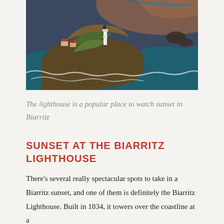[Figure (photo): Aerial photograph of the Biarritz Lighthouse on a rocky coastal promontory surrounded by ocean waves, with buildings and greenery visible on the headland.]
The lighthouse is a popular place to watch sunset in Biarritz
SUNSET AT THE BIARRITZ LIGHTHOUSE
There's several really spectacular spots to take in a Biarritz sunset, and one of them is definitely the Biarritz Lighthouse. Built in 1834, it towers over the coastline at a